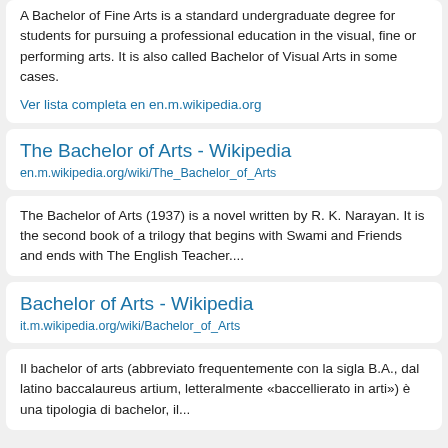A Bachelor of Fine Arts is a standard undergraduate degree for students for pursuing a professional education in the visual, fine or performing arts. It is also called Bachelor of Visual Arts in some cases.
Ver lista completa en en.m.wikipedia.org
The Bachelor of Arts - Wikipedia
en.m.wikipedia.org/wiki/The_Bachelor_of_Arts
The Bachelor of Arts (1937) is a novel written by R. K. Narayan. It is the second book of a trilogy that begins with Swami and Friends and ends with The English Teacher....
Bachelor of Arts - Wikipedia
it.m.wikipedia.org/wiki/Bachelor_of_Arts
Il bachelor of arts (abbreviato frequentemente con la sigla B.A., dal latino baccalaureus artium, letteralmente «baccellierato in arti») è una tipologia di bachelor, il...